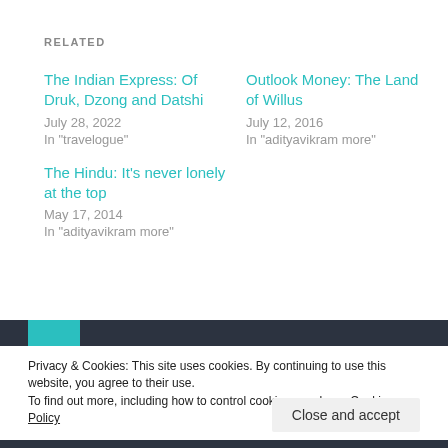RELATED
The Indian Express: Of Druk, Dzong and Datshi
July 28, 2022
In "travelogue"
Outlook Money: The Land of Willus
July 12, 2016
In "adityavikram more"
The Hindu: It's never lonely at the top
May 17, 2014
In "adityavikram more"
Privacy & Cookies: This site uses cookies. By continuing to use this website, you agree to their use.
To find out more, including how to control cookies, see here: Cookie Policy
Close and accept